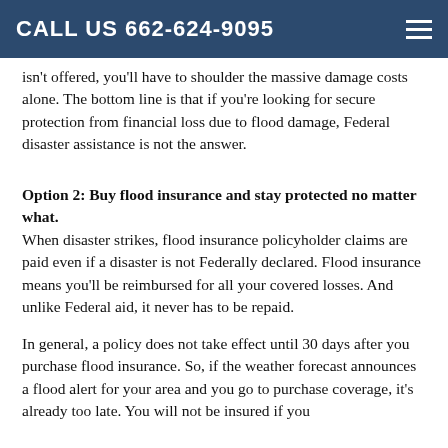CALL US 662-624-9095
isn't offered, you'll have to shoulder the massive damage costs alone. The bottom line is that if you're looking for secure protection from financial loss due to flood damage, Federal disaster assistance is not the answer.
Option 2: Buy flood insurance and stay protected no matter what.
When disaster strikes, flood insurance policyholder claims are paid even if a disaster is not Federally declared. Flood insurance means you'll be reimbursed for all your covered losses. And unlike Federal aid, it never has to be repaid.
In general, a policy does not take effect until 30 days after you purchase flood insurance. So, if the weather forecast announces a flood alert for your area and you go to purchase coverage, it's already too late. You will not be insured if you